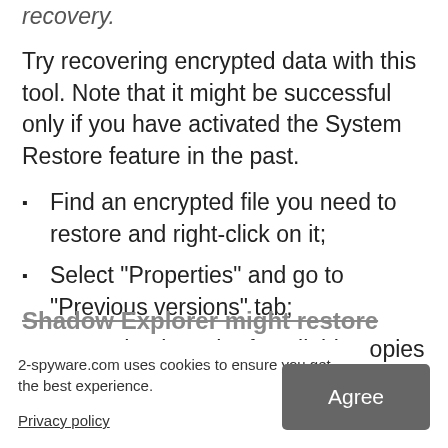recovery.
Try recovering encrypted data with this tool. Note that it might be successful only if you have activated the System Restore feature in the past.
Find an encrypted file you need to restore and right-click on it;
Select “Properties” and go to “Previous versions” tab;
Here, check each of available copies of the file in “Folder versions”. You should select the version you want to recover and click “Restore”.
Shadow Explorer might restore some individual files:
...eliminated the ...ts.
2-spyware.com uses cookies to ensure you get the best experience.
Privacy policy
Agree